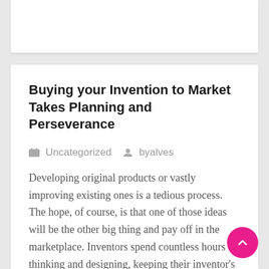Buying your Invention to Market Takes Planning and Perseverance
Uncategorized   byalves
Developing original products or vastly improving existing ones is a tedious process. The hope, of course, is that one of those ideas will be the other big thing and pay off in the marketplace. Inventors spend countless hours thinking and designing, keeping their inventor's logs, and checking into already approved patents for making sure their idea is truly original. Then, they spend hundreds to thousands of dollars to protect their idea with a